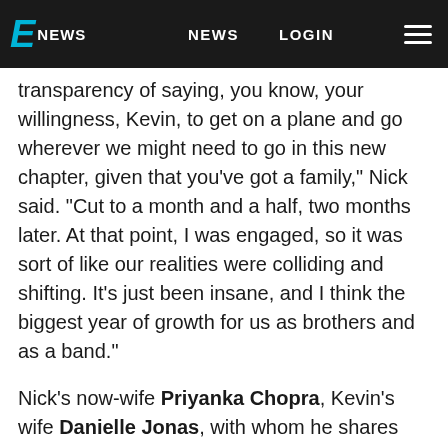E NEWS  NEWS  LOGIN
transparency of saying, you know, your willingness, Kevin, to get on a plane and go wherever we might need to go in this new chapter, given that you've got a family," Nick said. "Cut to a month and a half, two months later. At that point, I was engaged, so it was sort of like our realities were colliding and shifting. It's just been insane, and I think the biggest year of growth for us as brothers and as a band."
Nick's now-wife Priyanka Chopra, Kevin's wife Danielle Jonas, with whom he shares two daughters, and Joe's fiancée Sophie Turner appear with the Jonas Brothers in their music video for "Sucker."